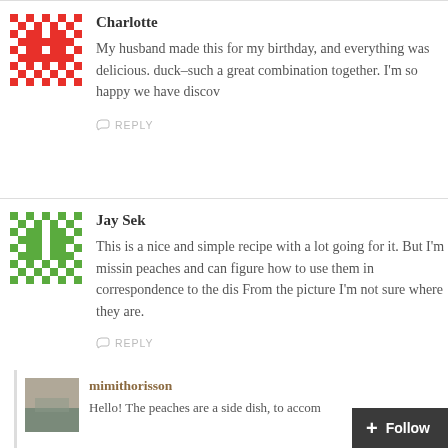Charlotte
My husband made this for my birthday, and everything was delicious. duck–such a great combination together. I'm so happy we have discov
REPLY
Jay Sek
This is a nice and simple recipe with a lot going for it. But I'm missin peaches and can figure how to use them in correspondence to the dis From the picture I'm not sure where they are.
REPLY
mimithorisson
Hello! The peaches are a side dish, to accom